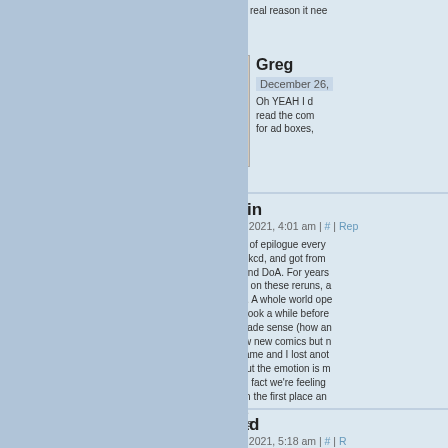real reason it nee
[Figure (illustration): Avatar of Greg - cartoon face of a young man with dark hair and blue eyes]
Greg
December 26,
Oh YEAH I d read the com for ad boxes,
[Figure (illustration): Avatar of Ron again - cartoon face of a young woman with dark hair looking worried]
Ron again
December 24, 2021, 4:01 am | # | Rep
This is the kind of epilogue every webcomics at xkcd, and got from Shortpacked! And DoA. For years and I picked up on these reruns, a monthly or so) . A whole world ope world of SP! It took a while before Shortpacked made sense (how an and I tried a few new comics but r Shortpacked came and I lost anot ends as well, but the emotion is m some point, the fact we're feeling having read it in the first place an better epilogue.
thank you, Willis
[Figure (illustration): Avatar of DailyBrad - cartoon figure with a hat]
DailyBrad
December 24, 2021, 5:18 am | # | R